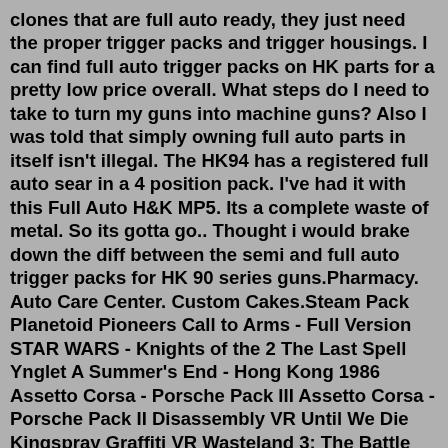clones that are full auto ready, they just need the proper trigger packs and trigger housings. I can find full auto trigger packs on HK parts for a pretty low price overall. What steps do I need to take to turn my guns into machine guns? Also I was told that simply owning full auto parts in itself isn't illegal. The HK94 has a registered full auto sear in a 4 position pack. I've had it with this Full Auto H&K MP5. Its a complete waste of metal. So its gotta go.. Thought i would brake down the diff between the semi and full auto trigger packs for HK 90 series guns.Pharmacy. Auto Care Center. Custom Cakes.Steam Pack Planetoid Pioneers Call to Arms - Full Version STAR WARS - Knights of the 2 The Last Spell Ynglet A Summer's End - Hong Kong 1986 Assetto Corsa - Porsche Pack III Assetto Corsa - Porsche Pack II Disassembly VR Until We Die Kingspray Graffiti VR Wasteland 3: The Battle of...Capabilities include disassembly, assembly, decompilation, graphing, and scripting, along with hundreds of other features. Children can to wide web data from a variety to ti